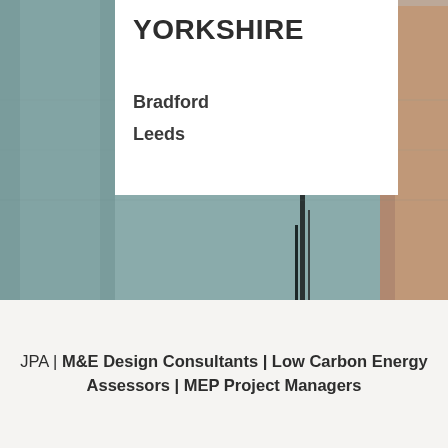[Figure (photo): Background photo of building facade with metallic/glass elements and brick detail, partially obscured by white panel overlay]
YORKSHIRE
Bradford
Leeds
JPA | M&E Design Consultants | Low Carbon Energy Assessors | MEP Project Managers